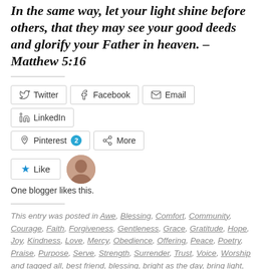In the same way, let your light shine before others, that they may see your good deeds and glorify your Father in heaven. – Matthew 5:16
[Figure (other): Social share buttons: Twitter, Facebook, Email, LinkedIn, Pinterest (2), More]
[Figure (other): Like button with star icon and blogger avatar thumbnail. Text: One blogger likes this.]
This entry was posted in Awe, Blessing, Comfort, Community, Courage, Faith, Forgiveness, Gentleness, Grace, Gratitude, Hope, Joy, Kindness, Love, Mercy, Obedience, Offering, Peace, Poetry, Praise, Purpose, Serve, Strength, Surrender, Trust, Voice, Worship and tagged all, best friend, blessing, bright as the day, bring light, call, connection, darkest of circumstances, darkness, day, demonstrate, encouraged